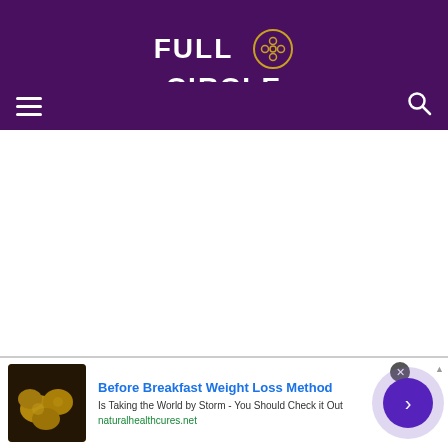[Figure (logo): Full Circle logo with film reel icon on dark purple background. Text reads FULL CIRCLE in white bold letters.]
[Figure (infographic): Navigation bar with hamburger menu icon on left and search magnifying glass icon on right, on dark purple background.]
[Figure (photo): Advertisement banner showing a food image (lemons/citrus being cooked), with headline 'Before Breakfast Weight Loss Method', subtext 'Is Taking the World by Storm - You Should Check it Out', URL naturalhealthcures.net, and a circular purple arrow button on the right.]